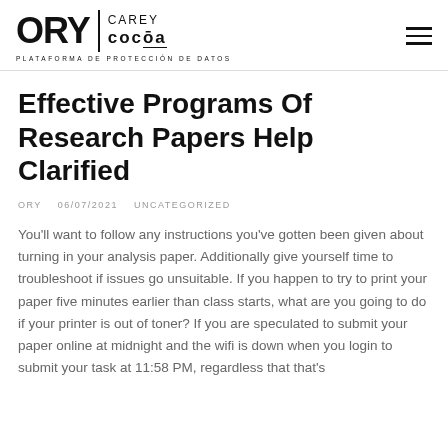[Figure (logo): ORY | CAREY COCOA logo with subtitle PLATAFORMA DE PROTECCIÓN DE DATOS]
Effective Programs Of Research Papers Help Clarified
ORY   06/07/2021   UNCATEGORIZED
You'll want to follow any instructions you've gotten been given about turning in your analysis paper. Additionally give yourself time to troubleshoot if issues go unsuitable. If you happen to try to print your paper five minutes earlier than class starts, what are you going to do if your printer is out of toner? If you are speculated to submit your paper online at midnight and the wifi is down when you login to submit your task at 11:58 PM, regardless that that's